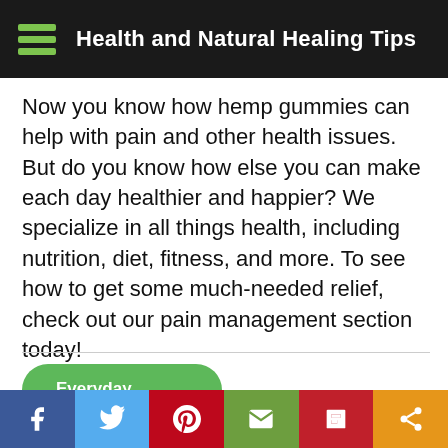Health and Natural Healing Tips
Now you know how hemp gummies can help with pain and other health issues. But do you know how else you can make each day healthier and happier? We specialize in all things health, including nutrition, diet, fitness, and more. To see how to get some much-needed relief, check out our pain management section today!
Everyday Solutions
Social share bar: Facebook, Twitter, Pinterest, Email, Flipboard, Share